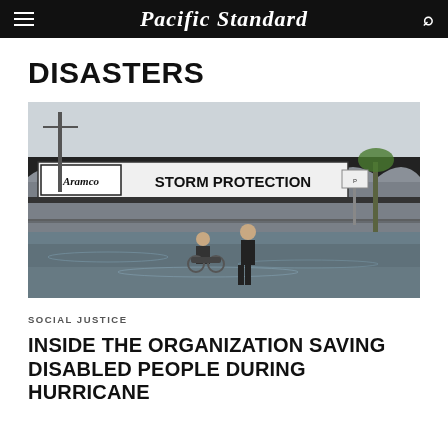Pacific Standard
DISASTERS
[Figure (photo): Two people wading through floodwater in front of a building with a sign reading 'Aramco STORM PROTECTION'. One person is in a wheelchair being assisted by another person standing in the water.]
SOCIAL JUSTICE
INSIDE THE ORGANIZATION SAVING DISABLED PEOPLE DURING HURRICANE